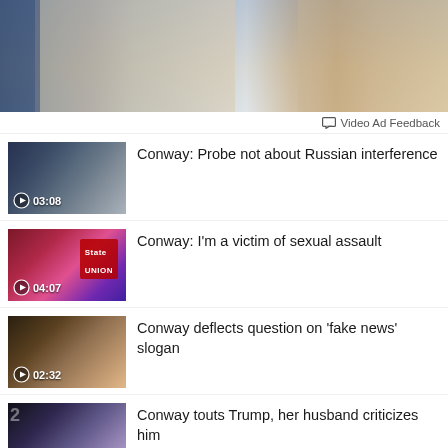[Figure (photo): Top cropped image of a woman at what appears to be a press briefing, partial view of torso in blue and white outfit, American flag visible in background]
Video Ad Feedback
Conway: Probe not about Russian interference — 03:08
Conway: I'm a victim of sexual assault — 04:07
Conway deflects question on 'fake news' slogan — 02:32
Conway touts Trump, her husband criticizes him — 01:58
Reporter details life in the Conway household